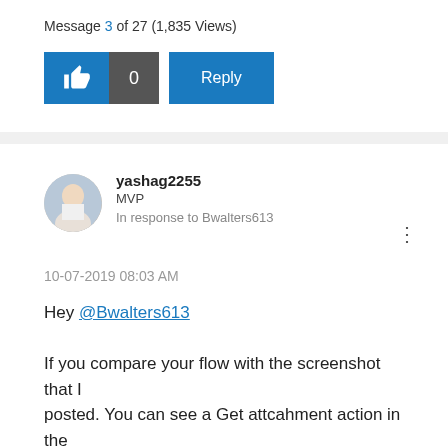Message 3 of 27 (1,835 Views)
[Figure (screenshot): Like button (thumbs up icon) with count 0 and Reply button]
yashag2255
MVP
In response to Bwalters613
10-07-2019 08:03 AM
Hey @Bwalters613

If you compare your flow with the screenshot that I posted. You can see a Get attcahment action in the